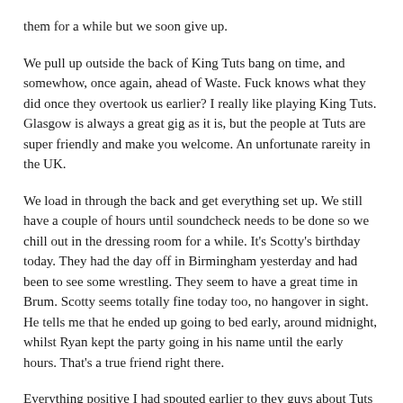them for a while but we soon give up.
We pull up outside the back of King Tuts bang on time, and somewhow, once again, ahead of Waste. Fuck knows what they did once they overtook us earlier? I really like playing King Tuts. Glasgow is always a great gig as it is, but the people at Tuts are super friendly and make you welcome. An unfortunate rareity in the UK.
We load in through the back and get everything set up. We still have a couple of hours until soundcheck needs to be done so we chill out in the dressing room for a while. It's Scotty's birthday today. They had the day off in Birmingham yesterday and had been to see some wrestling. They seem to have a great time in Brum. Scotty seems totally fine today too, no hangover in sight. He tells me that he ended up going to bed early, around midnight, whilst Ryan kept the party going in his name until the early hours. That's a true friend right there.
Everything positive I had spouted earlier to they guys about Tuts nearly gets pissed all over by the sound guy a while later. I went in to the office to ask if there was a code for the wireless internet. It was apparently a painstaking task I had given the guy. He tells me that he just told "the other guy" the code a minute ago. I enquire if he means Lewis, the tour manager, to which he just shrugs. "Ok, but can you just tell me it whilst i'm here?", to which he replies that he's already told two or three people the code. I wonder if he's joking as we stand there staring at each